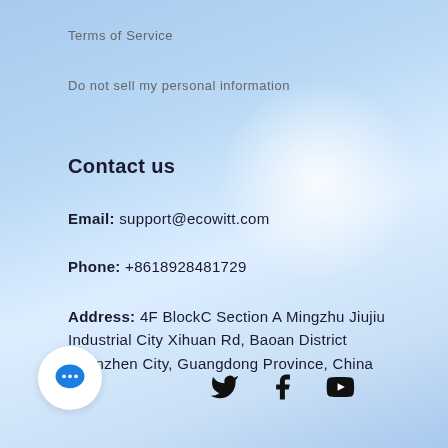Terms of Service
Do not sell my personal information
Contact us
Email: support@ecowitt.com
Phone: +8618928481729
Address: 4F BlockC Section A Mingzhu Jiujiu Industrial City Xihuan Rd, Baoan District Shenzhen City, Guangdong Province, China
[Figure (illustration): White circular chat bubble icon with blue speech bubble symbol]
[Figure (illustration): Social media icons row: Twitter bird, Facebook F, YouTube play button]